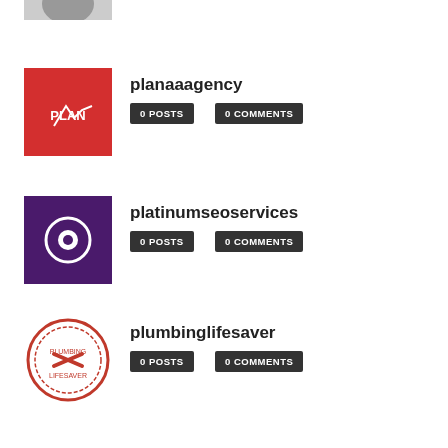[Figure (illustration): Partial gray avatar silhouette at the top of the page, cropped]
[Figure (logo): PLANA agency logo — red background with white mountain/line graph icon and text PLANA]
planaaagency
0 POSTS
0 COMMENTS
[Figure (logo): Platinum SEO services logo — dark purple background with white gear/hexagon icon]
platinumseoservices
0 POSTS
0 COMMENTS
[Figure (logo): Plumbing lifesaver logo — circular red stamp with wrench/tools graphic]
plumbinglifesaver
0 POSTS
0 COMMENTS
[Figure (logo): Printingblue12 logo — colorful paint drops in cyan, magenta, and yellow]
Printingblue12
0 POSTS
0 COMMENTS
[Figure (illustration): Gray generic avatar/silhouette icon]
qhwnzuim@qhwnz.vip
0 POSTS
0 COMMENTS